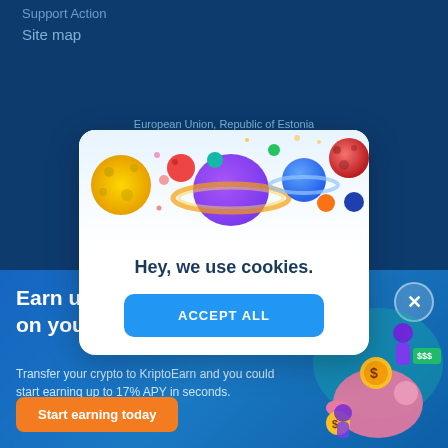Support Action
Site map
European Union, Republic of Estonia
[Figure (illustration): Cookie consent modal with colorful planet/space illustration at top, text 'Hey, we use cookies.' and blue 'ACCEPT ALL' button]
[Figure (infographic): Bottom banner ad for KriptoEarn: 'Earn up to 17% on your crypto' with orange 'Start earning today' button and crypto illustration on the right]